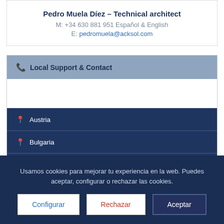Pedro Muela Díez – Technical architect
M: +34 630 881 951 Español & English
E: pedromuela@acksol.com
Local Support & Contact
Austria
Bulgaria
Caribe (República Dominicana)
Colombia
Usamos cookies para mejorar tu experiencia en la web. Puedes aceptar, configurar o rechazar las cookies.
Configurar | Rechazar | Aceptar